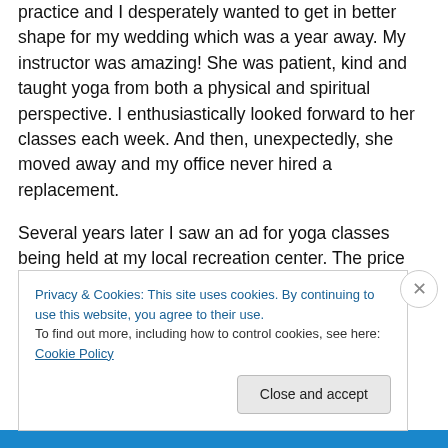practice and I desperately wanted to get in better shape for my wedding which was a year away. My instructor was amazing! She was patient, kind and taught yoga from both a physical and spiritual perspective. I enthusiastically looked forward to her classes each week. And then, unexpectedly, she moved away and my office never hired a replacement.
Several years later I saw an ad for yoga classes being held at my local recreation center. The price was inexpensive so I decided to give it a try. (I'm sure that's when I bought the second mat, having long since forgotten
Privacy & Cookies: This site uses cookies. By continuing to use this website, you agree to their use.
To find out more, including how to control cookies, see here: Cookie Policy